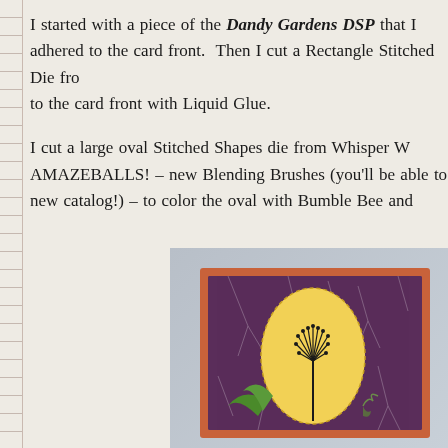I started with a piece of the Dandy Gardens DSP that I adhered to the card front.  Then I cut a Rectangle Stitched Die from... to the card front with Liquid Glue.
I cut a large oval Stitched Shapes die from Whisper W... AMAZEBALLS! – new Blending Brushes (you'll be able to... new catalog!) – to color the oval with Bumble Bee and...
[Figure (photo): A handmade craft card featuring an orange/coral outer border, a dark purple patterned background with white branch designs, a yellow oval with a black dandelion stem stamp, green leaves, and small decorative elements.]